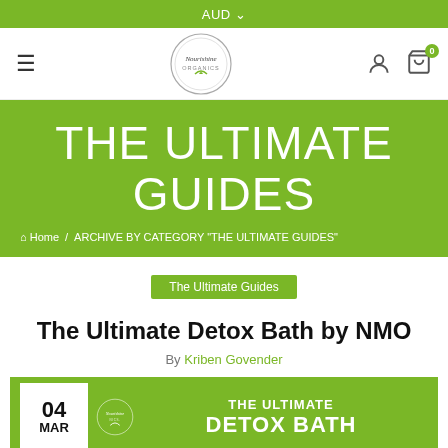AUD
[Figure (logo): Nourishine Organics circular logo with leaf motif]
THE ULTIMATE GUIDES
Home / ARCHIVE BY CATEGORY "THE ULTIMATE GUIDES"
The Ultimate Guides
The Ultimate Detox Bath by NMO
By Kriben Govender
[Figure (illustration): 04 MAR date box and THE ULTIMATE DETOX BATH text on green background with Nourishine logo]